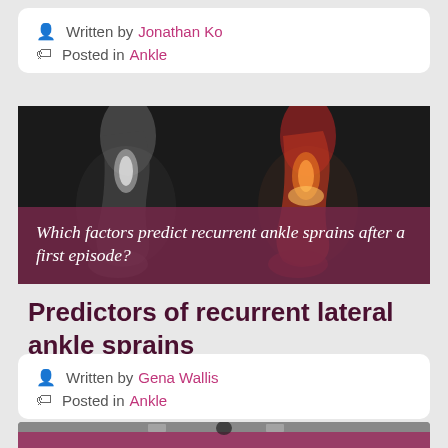Written by Jonathan Ko
Posted in Ankle
[Figure (illustration): Medical illustration of ankle anatomy with text overlay: Which factors predict recurrent ankle sprains after a first episode?]
Predictors of recurrent lateral ankle sprains
Written by Gena Wallis
Posted in Ankle
[Figure (photo): Partial photo strip at bottom of page, black and white, showing a person in a gym/sports setting]